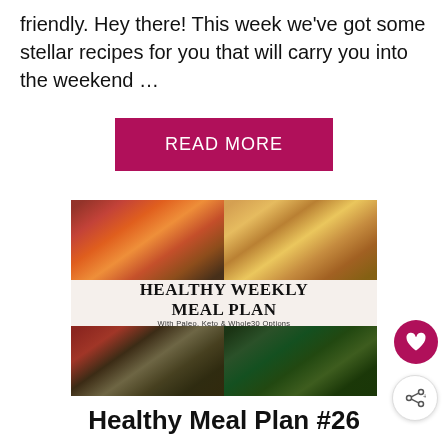friendly. Hey there! This week we've got some stellar recipes for you that will carry you into the weekend …
READ MORE
[Figure (photo): Healthy Weekly Meal Plan promotional image showing kebabs, rice dishes, and fresh salad bowls with vegetables, with overlay text 'HEALTHY WEEKLY MEAL PLAN With Paleo, Keto & Whole30 Options']
Healthy Meal Plan #26
These healthy meal plans are for six dinner recipes and a dessert that are good for all. All of the recipes are …